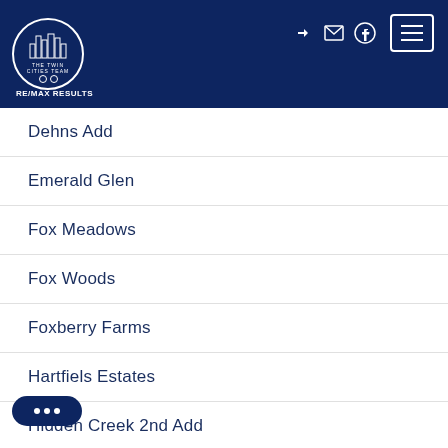[Figure (logo): The Twin Cities Team RE/MAX Results logo - circular white outline logo on dark navy background with city skyline icon and navigation icons]
Dehns Add
Emerald Glen
Fox Meadows
Fox Woods
Foxberry Farms
Hartfiels Estates
Hidden Creek 2nd Add
Hills of Bunker Lake 3rd